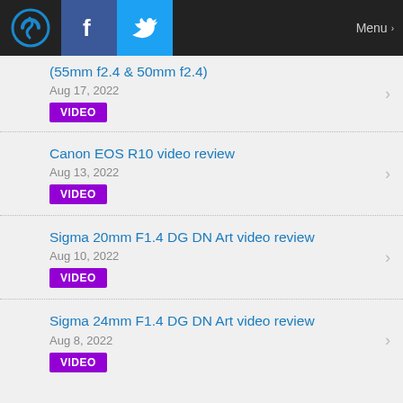Logo | Facebook | Twitter | Menu
(55mm f2.4 & 50mm f2.4)
Aug 17, 2022
VIDEO
Canon EOS R10 video review
Aug 13, 2022
VIDEO
Sigma 20mm F1.4 DG DN Art video review
Aug 10, 2022
VIDEO
Sigma 24mm F1.4 DG DN Art video review
Aug 8, 2022
VIDEO